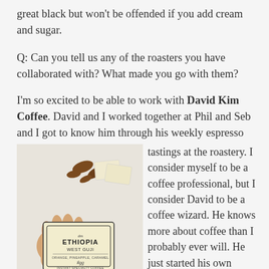great black but won't be offended if you add cream and sugar.
Q: Can you tell us any of the roasters you have collaborated with? What made you go with them?
I'm so excited to be able to work with David Kim Coffee. David and I worked together at Phil and Seb and I got to know him through his weekly espresso tastings at the roastery. I consider myself to be a coffee professional, but I consider David to be a coffee wizard. He knows more about coffee than I probably ever will. He just started his own
[Figure (photo): A hand holding a small coffee packet labeled 'ETHIOPIA WEST GUJI' with tasting notes 'Orange, Pineapple, Caramel' and 'Instant Specialty Coffee' branding, with scattered coffee beans on a white surface in the background.]